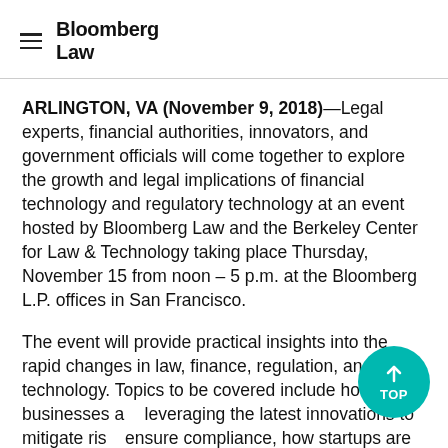Bloomberg Law
ARLINGTON, VA (November 9, 2018)—Legal experts, financial authorities, innovators, and government officials will come together to explore the growth and legal implications of financial technology and regulatory technology at an event hosted by Bloomberg Law and the Berkeley Center for Law & Technology taking place Thursday, November 15 from noon – 5 p.m. at the Bloomberg L.P. offices in San Francisco.
The event will provide practical insights into the rapid changes in law, finance, regulation, and technology. Topics to be covered include how businesses are leveraging the latest innovations to mitigate risk, ensure compliance, how startups are using ICOs, new blockchain-based methods to raise capital, and how